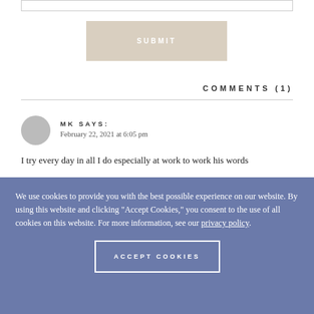[Figure (other): Input text field at top of page]
SUBMIT
COMMENTS (1)
MK SAYS:
February 22, 2021 at 6:05 pm
I try every day in all I do especially at work to work his words
We use cookies to provide you with the best possible experience on our website. By using this website and clicking "Accept Cookies," you consent to the use of all cookies on this website. For more information, see our privacy policy.
ACCEPT COOKIES